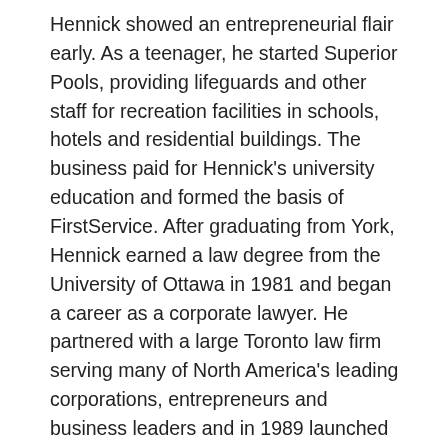Hennick showed an entrepreneurial flair early. As a teenager, he started Superior Pools, providing lifeguards and other staff for recreation facilities in schools, hotels and residential buildings. The business paid for Hennick's university education and formed the basis of FirstService. After graduating from York, Hennick earned a law degree from the University of Ottawa in 1981 and began a career as a corporate lawyer. He partnered with a large Toronto law firm serving many of North America's leading corporations, entrepreneurs and business leaders and in 1989 launched First Service.
In 1998, at age 41, Hennick won Entrepreneur of the Year awards in Ontario and Canada and in 2001 was named CEO of the year by Canadian Business magazine. An inspirational business leader, Hennick is also an outstanding philanthropist and contributor to his community. Through the Jay and Barbara Hennick